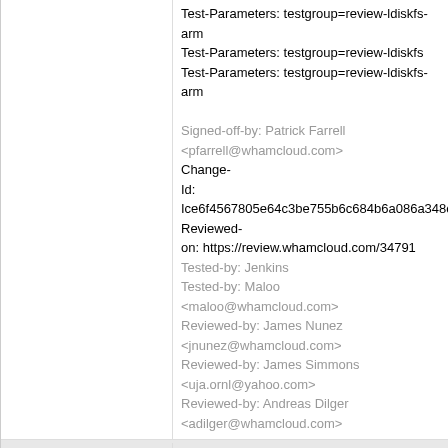Test-Parameters: testgroup=review-ldiskfs-arm
Test-Parameters: testgroup=review-ldiskfs
Test-Parameters: testgroup=review-ldiskfs-arm

Signed-off-by: Patrick Farrell <pfarrell@whamcloud.com>
Change-Id: Ice6f4567805e64c3be755b6c684b6a086a348c...
Reviewed-on: https://review.whamcloud.com/34791
Tested-by: Jenkins
Tested-by: Maloo <maloo@whamcloud.com>
Reviewed-by: James Nunez <jnunez@whamcloud.com>
Reviewed-by: James Simmons <uja.ornl@yahoo.com>
Reviewed-by: Andreas Dilger <adilger@whamcloud.com>
3 years ago with lfs find" 80/34780/2 | Revert "LU-11367 som: integrate LSOM with lfs find"
commit | commitdiff | tree   Oleg Drokin [Tue, 30 Apr 2019 18:00:09 +0000 (18:00 +0000)]
Revert "LU-11367 som: integrate LSOM with lfs find"

This is a revert of 18353...